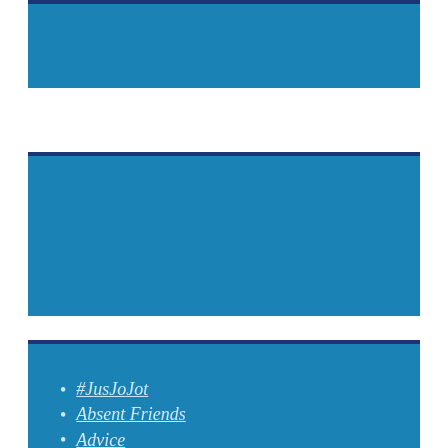[Figure (screenshot): Top blue banner section with dark blue top border]
[Figure (screenshot): Middle blue section with WordPress Follow No Facilities button showing 12,073 followers]
[Figure (screenshot): Bottom blue section with list of links]
#JusJoJot
Absent Friends
Advice
AIIM
AIIM NE Events
All S…